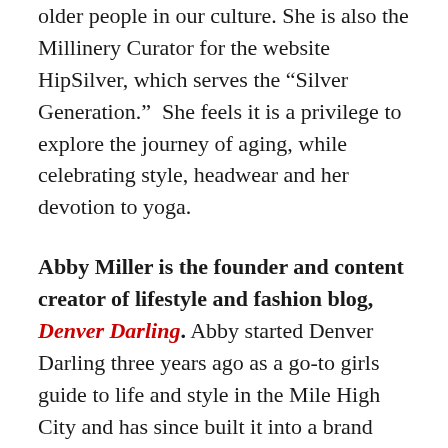older people in our culture. She is also the Millinery Curator for the website HipSilver, which serves the “Silver Generation.”  She feels it is a privilege to explore the journey of aging, while celebrating style, headwear and her devotion to yoga.
Abby Miller is the founder and content creator of lifestyle and fashion blog, Denver Darling. Abby started Denver Darling three years ago as a go-to girls guide to life and style in the Mile High City and has since built it into a brand that Denver locals and visitors look to for style inspiration. She recently launched